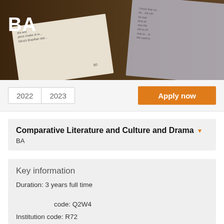[Figure (photo): Hero image showing open books on a wooden surface with dark overlay. Bold white text 'BA' in top left corner.]
2022  2023
Apply now
Comparative Literature and Culture and Drama
BA
Key information
Duration: 3 years full time
UCAS code: Q2W4
Institution code: R72
Campus: Egham